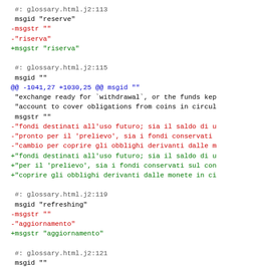#: glossary.html.j2:113
 msgid "reserve"
-msgstr ""
-"riserva"
+msgstr "riserva"

 #: glossary.html.j2:115
 msgid ""
@@ -1041,27 +1030,25 @@ msgid ""
 "exchange ready for `withdrawal`, or the funds kep
 "account to cover obligations from coins in circul
 msgstr ""
-"fondi destinati all'uso futuro; sia il saldo di u
-"pronto per il 'prelievo', sia i fondi conservati
-"cambio per coprire gli obblighi derivanti dalle m
+"fondi destinati all'uso futuro; sia il saldo di u
+"per il 'prelievo', sia i fondi conservati sul con
+"coprire gli obblighi derivanti dalle monete in ci

 #: glossary.html.j2:119
 msgid "refreshing"
-msgstr ""
-"aggiornamento"
+msgstr "aggiornamento"

 #: glossary.html.j2:121
 msgid ""
 "operation by which a `dirty` `coin` is converted
 "coins"
 msgstr ""